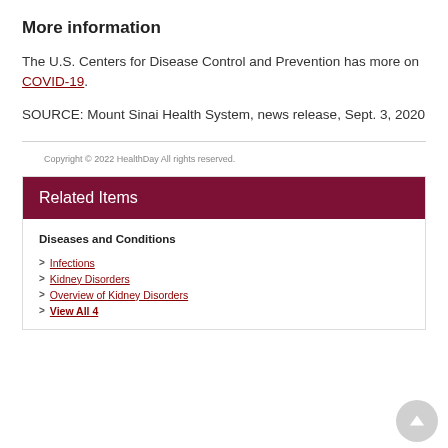More information
The U.S. Centers for Disease Control and Prevention has more on COVID-19.
SOURCE: Mount Sinai Health System, news release, Sept. 3, 2020
Copyright © 2022 HealthDay All rights reserved.
Related Items
Diseases and Conditions
Infections
Kidney Disorders
Overview of Kidney Disorders
View All 4